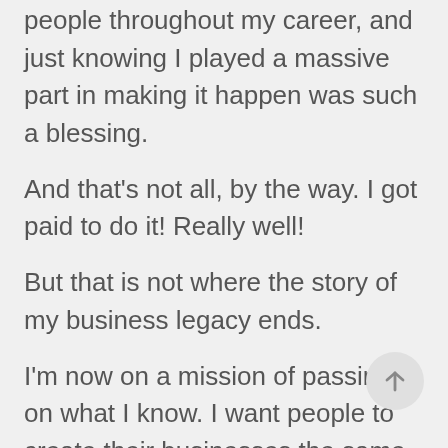people throughout my career, and just knowing I played a massive part in making it happen was such a blessing.
And that’s not all, by the way. I got paid to do it! Really well!
But that is not where the story of my business legacy ends.
I’m now on a mission of passing on what I know. I want people to create their businesses the same way I did WITHOUT having to go
[Figure (other): Circular back-to-top arrow button, light gray background]